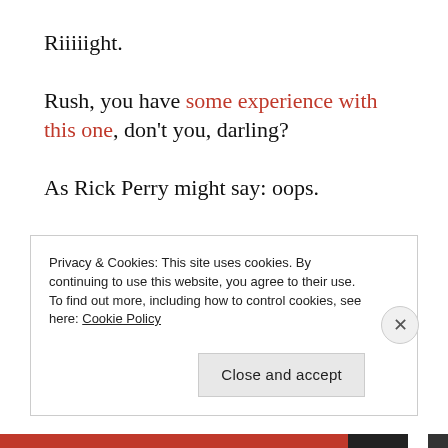Riiiiight.
Rush, you have some experience with this one, don't you, darling?
As Rick Perry might say: oops.
Here’s what I’d say: Rush, you do not have control over any woman’s reproductive system or her sex life. You are not a moral paragon, nor does any uterus tremble in
Privacy & Cookies: This site uses cookies. By continuing to use this website, you agree to their use.
To find out more, including how to control cookies, see here: Cookie Policy
Close and accept